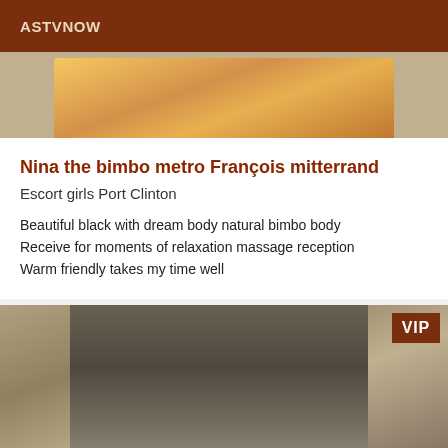ASTVNOW
[Figure (photo): Partial photo of a person wearing yellow and pink clothing, cropped at top of card]
Nina the bimbo metro François mitterrand
Escort girls Port Clinton
Beautiful black with dream body natural bimbo body
Receive for moments of relaxation massage reception
Warm friendly takes my time well
[Figure (photo): Photo of a person with long dark hair, close-up portrait shot, with VIP badge overlay]
VIP